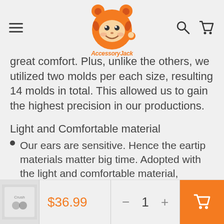AccessoryJack shop navigation header
great comfort. Plus, unlike the others, we utilized two molds per each size, resulting 14 molds in total. This allowed us to gain the highest precision in our productions.
Light and Comfortable material
Our ears are sensitive. Hence the eartip materials matter big time. Adopted with the light and comfortable material, German Premium LSR. We cannot stress enough how
$36.99  1  [cart button]